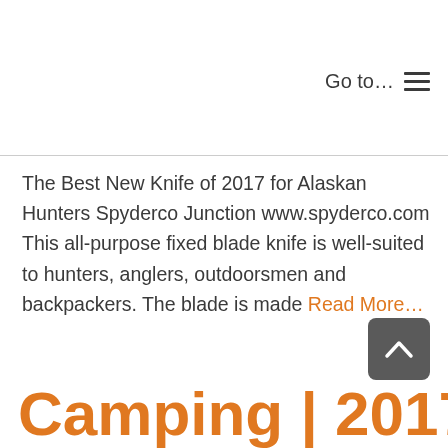Go to…  ☰
The Best New Knife of 2017 for Alaskan Hunters Spyderco Junction www.spyderco.com This all-purpose fixed blade knife is well-suited to hunters, anglers, outdoorsmen and backpackers. The blade is made Read More…
Camping | 2017 New